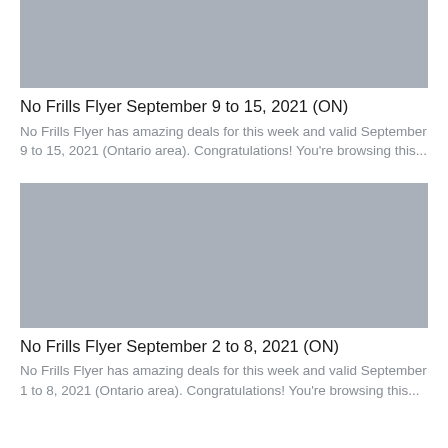[Figure (photo): Gray placeholder thumbnail image for No Frills Flyer article]
No Frills Flyer September 9 to 15, 2021 (ON)
No Frills Flyer has amazing deals for this week and valid September 9 to 15, 2021 (Ontario area). Congratulations! You're browsing this...
[Figure (photo): Gray placeholder thumbnail image for No Frills Flyer article]
No Frills Flyer September 2 to 8, 2021 (ON)
No Frills Flyer has amazing deals for this week and valid September 1 to 8, 2021 (Ontario area). Congratulations! You're browsing this...